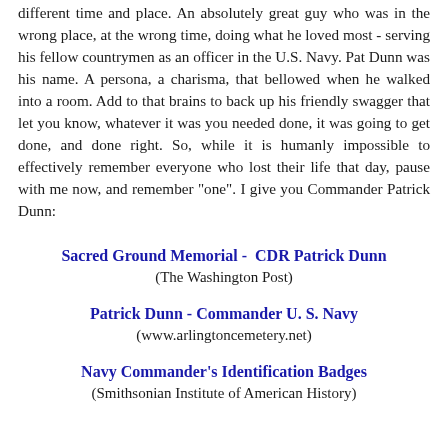different time and place. An absolutely great guy who was in the wrong place, at the wrong time, doing what he loved most - serving his fellow countrymen as an officer in the U.S. Navy. Pat Dunn was his name. A persona, a charisma, that bellowed when he walked into a room. Add to that brains to back up his friendly swagger that let you know, whatever it was you needed done, it was going to get done, and done right. So, while it is humanly impossible to effectively remember everyone who lost their life that day, pause with me now, and remember "one". I give you Commander Patrick Dunn:
Sacred Ground Memorial -  CDR Patrick Dunn
(The Washington Post)
Patrick Dunn - Commander U. S. Navy
(www.arlingtoncemetery.net)
Navy Commander's Identification Badges
(Smithsonian Institute of American History)